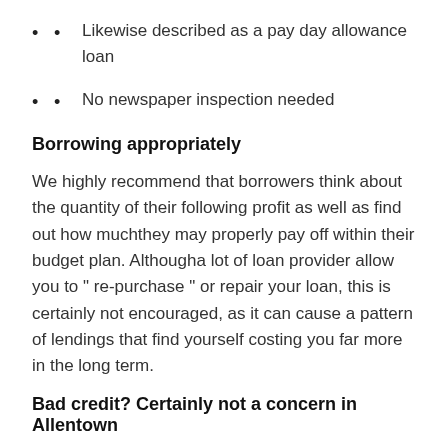Likewise described as a pay day allowance loan
No newspaper inspection needed
Borrowing appropriately
We highly recommend that borrowers think about the quantity of their following profit as well as find out how muchthey may properly pay off within their budget plan. Althougha lot of loan provider allow you to “ re-purchase ” or repair your loan, this is certainly not encouraged, as it can cause a pattern of lendings that find yourself costing you far more in the long term.
Bad credit? Certainly not a concern in Allentown
Payday fundings aren’ t like mortgage loan or even auto loans. They’ re unsafe individual car loans for percentages for